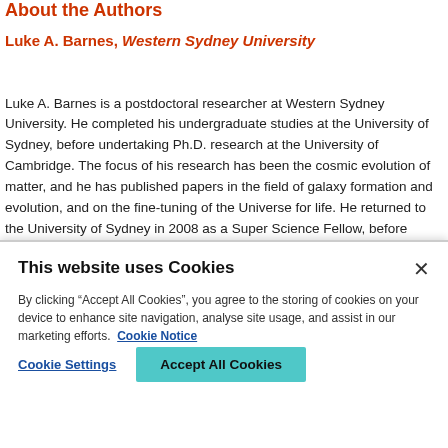About the Authors
Luke A. Barnes, Western Sydney University
Luke A. Barnes is a postdoctoral researcher at Western Sydney University. He completed his undergraduate studies at the University of Sydney, before undertaking Ph.D. research at the University of Cambridge. The focus of his research has been the cosmic evolution of matter, and he has published papers in the field of galaxy formation and evolution, and on the fine-tuning of the Universe for life. He returned to the University of Sydney in 2008 as a Super Science Fellow, before being awarded a prestigious Templeton Fellowship to expand his research on the physics of fine-tuning of the laws of physics for complexity and ultimately life. Dr Barnes is an
This website uses Cookies
By clicking “Accept All Cookies”, you agree to the storing of cookies on your device to enhance site navigation, analyse site usage, and assist in our marketing efforts. Cookie Notice
Cookie Settings
Accept All Cookies